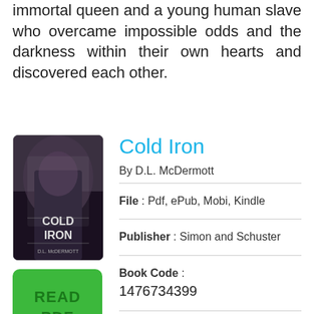immortal queen and a young human slave who overcame impossible odds and the darkness within their own hearts and discovered each other.
Cold Iron
By D.L. McDermott
[Figure (photo): Book cover of Cold Iron showing a dark fantasy scene]
[Figure (other): Green READ PDF button]
File : Pdf, ePub, Mobi, Kindle
Publisher : Simon and Schuster
Book Code : 1476734399